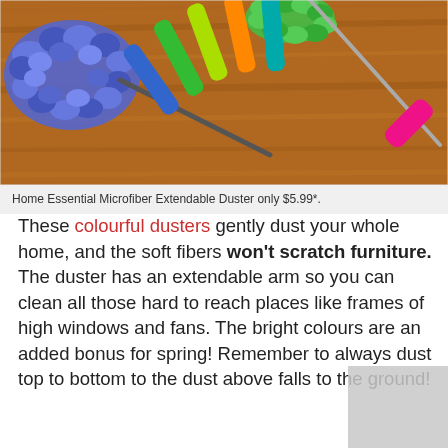[Figure (photo): Photo of colorful microfiber duster with blue fluffy head and colorful marker-style handles on a wooden surface]
Home Essential Microfiber Extendable Duster only $5.99*.
These colourful dusters gently dust your whole home, and the soft fibers won't scratch furniture. The duster has an extendable arm so you can clean all those hard to reach places like frames of high windows and fans. The bright colours are an added bonus for spring! Remember to always dust top to bottom to the dust above falls to the ground!